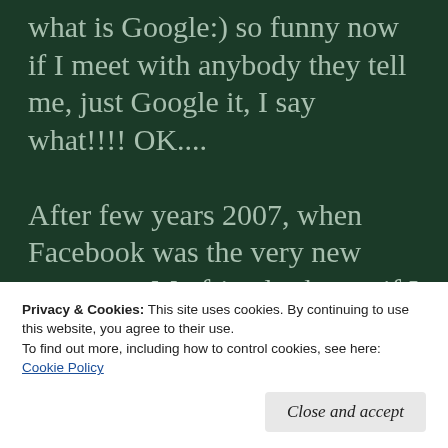what is Google:) so funny now if I meet with anybody they tell me, just Google it, I say what!!!! OK....

After few years 2007, when Facebook was the very new company. My friend asks me if I know Facebook, I told her yes. She told me you know, Mark is from Palo Alto High School. He started Facebook
Privacy & Cookies: This site uses cookies. By continuing to use this website, you agree to their use.
To find out more, including how to control cookies, see here: Cookie Policy
Close and accept
go and check.:(